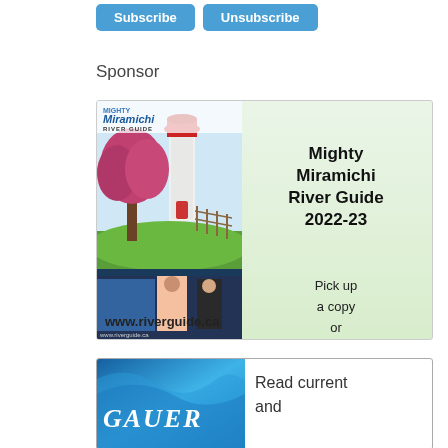[Figure (other): Subscribe and Unsubscribe buttons in blue]
Sponsor
[Figure (illustration): Advertisement for Mighty Miramichi River Guide 2022-23. Shows magazine cover with lighthouse and landscape illustration on left. Text on right reads: Mighty Miramichi River Guide 2022-23. Pick up a copy or read online! www.riverguide.ca]
[Figure (illustration): Partial advertisement showing blue wave design with GAUER text and 'Read current and' text visible]